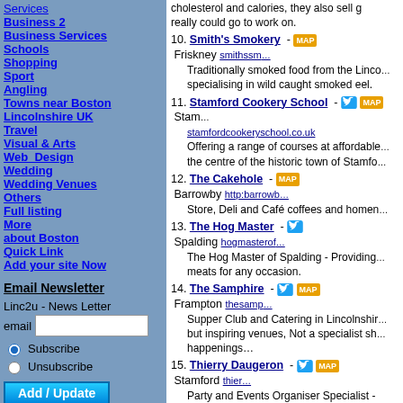Services
Business 2
Business Services
Schools
Shopping
Sport
Angling
Towns near Boston
Lincolnshire UK
Travel
Visual & Arts
Web Design
Wedding
Wedding Venues
Others
Full listing
More
about Boston
Quick Link
Add your site Now
Email Newsletter
Linc2u - News Letter email
10. Smith's Smokery - MAP Friskney smithssm... Traditionally smoked food from the Linco... specialising in wild caught smoked eel.
11. Stamford Cookery School - [twitter] MAP Stam... stamfordcookeryschool.co.uk Offering a range of courses at affordable... the centre of the historic town of Stamfo...
12. The Cakehole - MAP Barrowby http:barrowb... Store, Deli and Café coffees and homen...
13. The Hog Master - [twitter] Spalding hogmasterof... The Hog Master of Spalding - Providing... meats for any occasion.
14. The Samphire - [twitter] MAP Frampton thesamp... Supper Club and Catering in Lincolnshir... but inspiring venues, Not a specialist sh... happenings…
15. Thierry Daugeron - [twitter] MAP Stamford thier... Party and Events Organiser Specialist -
Related Food pages around Boston Lincs:-
Farming
Restaurants and Cafe
Pubs with Food
Hotels
Search NE Lincolnshire